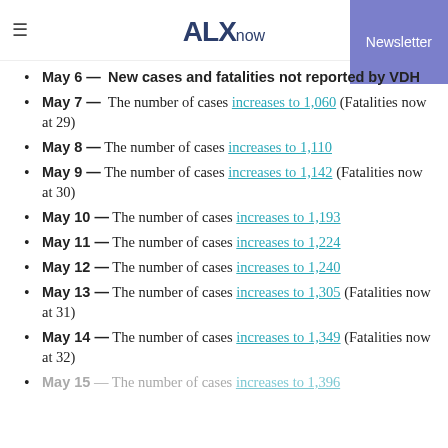ALXnow | Newsletter
May 6 — New cases and fatalities not reported by VDH
May 7 — The number of cases increases to 1,060 (Fatalities now at 29)
May 8 — The number of cases increases to 1,110
May 9 — The number of cases increases to 1,142 (Fatalities now at 30)
May 10 — The number of cases increases to 1,193
May 11 — The number of cases increases to 1,224
May 12 — The number of cases increases to 1,240
May 13 — The number of cases increases to 1,305 (Fatalities now at 31)
May 14 — The number of cases increases to 1,349 (Fatalities now at 32)
May 15 — The number of cases increases to 1,396